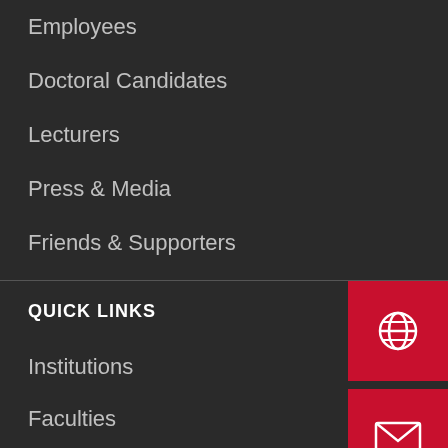Employees
Doctoral Candidates
Lecturers
Press & Media
Friends & Supporters
QUICK LINKS
Institutions
Faculties
International
Excellence Strategy
Key Dates & Deadlines
Course Overview